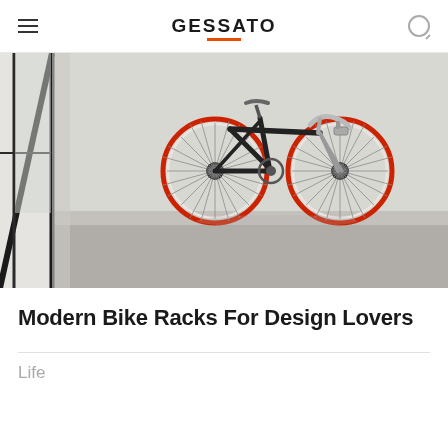GESSATO
[Figure (photo): A bicycle with red-rimmed wheels mounted on a white wall in a minimalist room with concrete floor and black-framed glass partition visible on the left.]
Modern Bike Racks For Design Lovers
Life